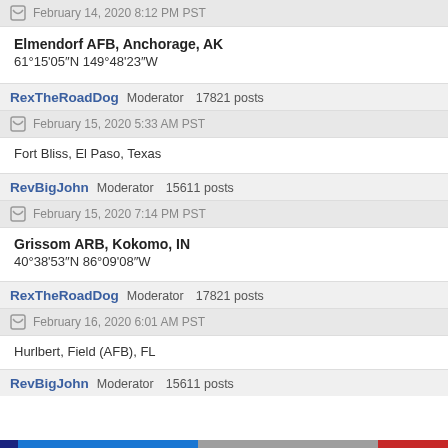February 14, 2020 8:12 PM PST
Elmendorf AFB, Anchorage, AK
61°15'05"N 149°48'23"W
RexTheRoadDog  Moderator  17821 posts
February 15, 2020 5:33 AM PST
Fort Bliss, El Paso, Texas
RevBigJohn  Moderator  15611 posts
February 15, 2020 7:14 PM PST
Grissom ARB, Kokomo, IN
40°38'53"N 86°09'08"W
RexTheRoadDog  Moderator  17821 posts
February 16, 2020 6:01 AM PST
Hurlbert, Field (AFB), FL
RevBigJohn  Moderator  15611 posts